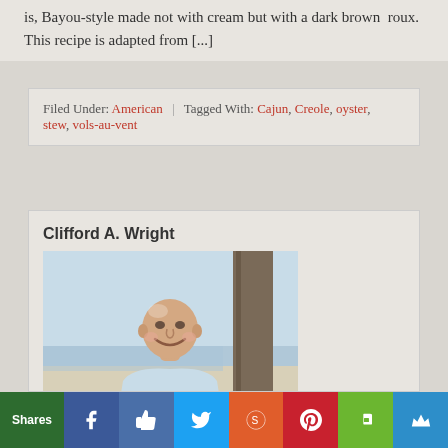is, Bayou-style made not with cream but with a dark brown roux. This recipe is adapted from [...]
Filed Under: American | Tagged With: Cajun, Creole, oyster, stew, vols-au-vent
Clifford A. Wright
[Figure (photo): Photo of Clifford A. Wright, a smiling bald man in a light blue shirt, photographed outdoors near water and a tree trunk.]
Shares | Facebook | Like | Twitter | Reddit | Pinterest | Evernote | Crown